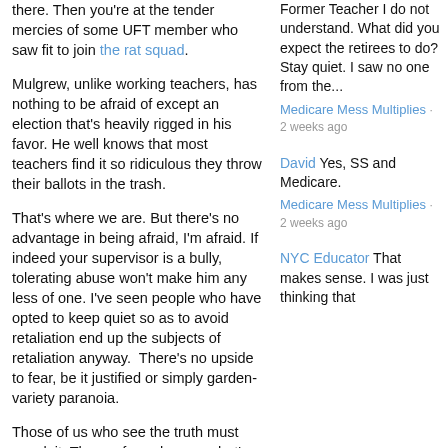there. Then you're at the tender mercies of some UFT member who saw fit to join the rat squad.
Mulgrew, unlike working teachers, has nothing to be afraid of except an election that's heavily rigged in his favor. He well knows that most teachers find it so ridiculous they throw their ballots in the trash.
That's where we are. But there's no advantage in being afraid, I'm afraid. If indeed your supervisor is a bully, tolerating abuse won't make him any less of one. I've seen people who have opted to keep quiet so as to avoid retaliation end up the subjects of retaliation anyway.  There's no upside to fear, be it justified or simply garden-variety paranoia.
Those of us who see the truth must speak it. Those of us who see what's right must preach it. We must prop up our brothers and sisters who are fearful and oppressed. We must point to others who say the truth. These are tough times and there are those who'd leave us for dead.
Former Teacher I do not understand. What did you expect the retirees to do? Stay quiet. I saw no one from the...
Medicare Mess Multiplies · 2 weeks ago
David Yes, SS and Medicare.
Medicare Mess Multiplies · 2 weeks ago
NYC Educator That makes sense. I was just thinking that